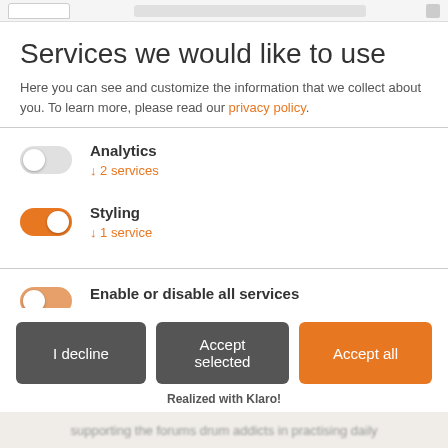Services we would like to use
Here you can see and customize the information that we collect about you. To learn more, please read our privacy policy.
Analytics
↓ 2 services
Styling
↓ 1 service
Enable or disable all services
Use this switch to enable or disable all services.
I decline
Accept selected
Accept all
Realized with Klaro!